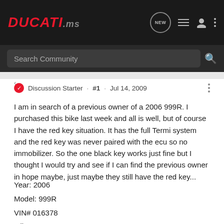DUCATI.ms
Search Community
Discussion Starter · #1 · Jul 14, 2009
I am in search of a previous owner of a 2006 999R. I purchased this bike last week and all is well, but of course I have the red key situation. It has the full Termi system and the red key was never paired with the ecu so no immobilizer. So the one black key works just fine but I thought I would try and see if I can find the previous owner in hope maybe, just maybe they still have the red key...
Year: 2006
Model: 999R
VIN# 016378
Miles: 1850